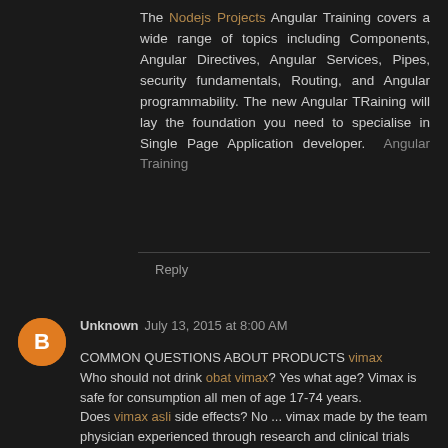The Nodejs Projects Angular Training covers a wide range of topics including Components, Angular Directives, Angular Services, Pipes, security fundamentals, Routing, and Angular programmability. The new Angular TRaining will lay the foundation you need to specialise in Single Page Application developer. Angular Training
Reply
Unknown July 13, 2015 at 8:00 AM
COMMON QUESTIONS ABOUT PRODUCTS vimax
Who should not drink obat vimax? Yes what age? Vimax is safe for consumption all men of age 17-74 years.
Does vimax asli side effects? No ... vimax made by the team physician experienced through research and clinical trials over the years. For more than 11 years in circulation, vimax reportedly did not cause any side effects.